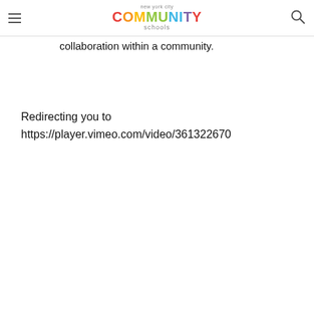new york city COMMUNITY schools
collaboration within a community.
Redirecting you to https://player.vimeo.com/video/361322670